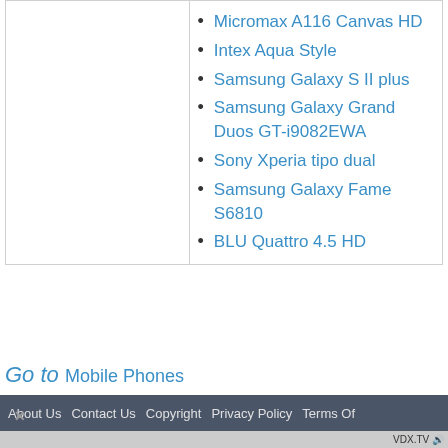Micromax A116 Canvas HD
Intex Aqua Style
Samsung Galaxy S II plus
Samsung Galaxy Grand Duos GT-i9082EWA
Sony Xperia tipo dual
Samsung Galaxy Fame S6810
BLU Quattro 4.5 HD
Go to Mobile Phones
About Us   Contact Us   Copyright   Privacy Policy   Terms Of